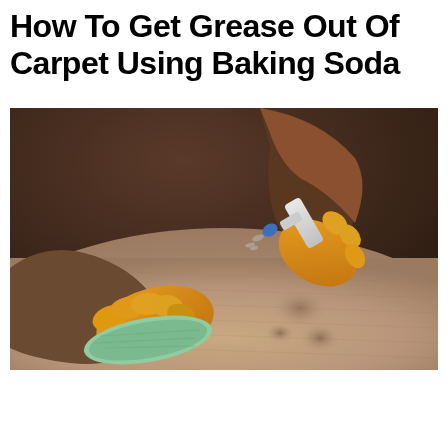How To Get Grease Out Of Carpet Using Baking Soda
[Figure (photo): Person wearing yellow rubber gloves cleaning a carpet stain — one hand scrubbing with a green cloth, the other holding a spray bottle — on a beige carpet with grease stains visible]
[Figure (infographic): Advertisement banner with yellow background: 'TOP BRANDS & UNIQUE FINDS' headline, 'Daily deals up to 70% off' subtext, shoe and teal bag images on right, Zulily branding in purple]